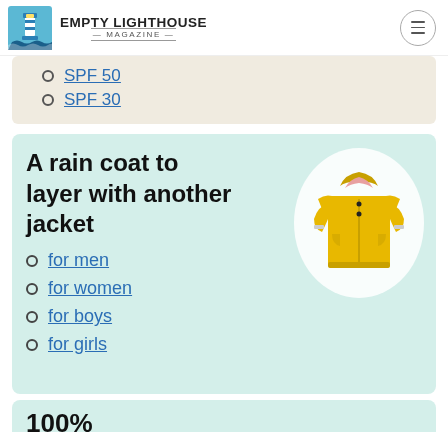EMPTY LIGHTHOUSE MAGAZINE
SPF 50
SPF 30
A rain coat to layer with another jacket
[Figure (photo): Yellow children's rain jacket displayed on white oval background]
for men
for women
for boys
for girls
100%...